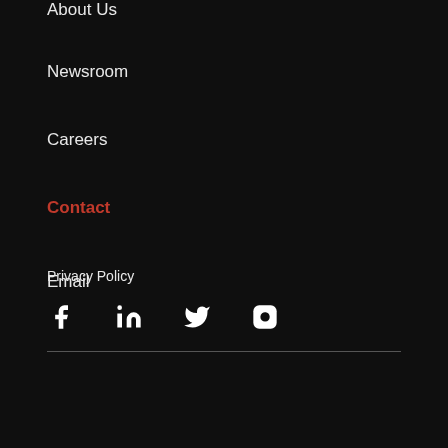About Us
Newsroom
Careers
Contact
Email
Privacy Policy
[Figure (infographic): Social media icons: Facebook, LinkedIn, Twitter, Instagram]